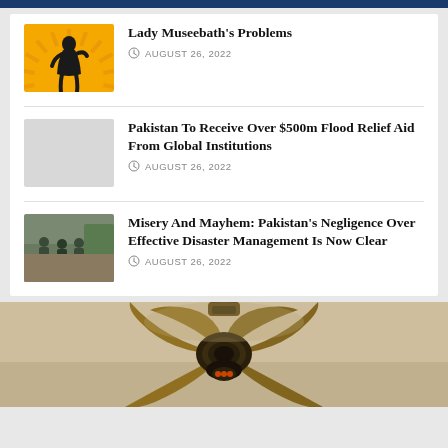Lady Museebath's Problems
AUGUST 26, 2022
Pakistan To Receive Over $500m Flood Relief Aid From Global Institutions
AUGUST 26, 2022
Misery And Mayhem: Pakistan's Negligence Over Effective Disaster Management Is Now Clear
AUGUST 26, 2022
[Figure (photo): Ceiling fan viewed from below, with wooden blades spread out, photographed against a light-colored ceiling]